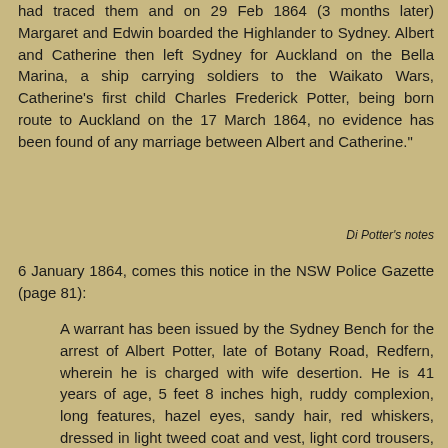had traced them and on 29 Feb 1864 (3 months later) Margaret and Edwin boarded the Highlander to Sydney. Albert and Catherine then left Sydney for Auckland on the Bella Marina, a ship carrying soldiers to the Waikato Wars, Catherine's first child Charles Frederick Potter, being born route to Auckland on the 17 March 1864, no evidence has been found of any marriage between Albert and Catherine."
Di Potter's notes
6 January 1864, comes this notice in the NSW Police Gazette (page 81):
A warrant has been issued by the Sydney Bench for the arrest of Albert Potter, late of Botany Road, Redfern, wherein he is charged with wife desertion. He is 41 years of age, 5 feet 8 inches high, ruddy complexion, long features, hazel eyes, sandy hair, red whiskers, dressed in light tweed coat and vest, light cord trousers, and light California hat; an Englishman.